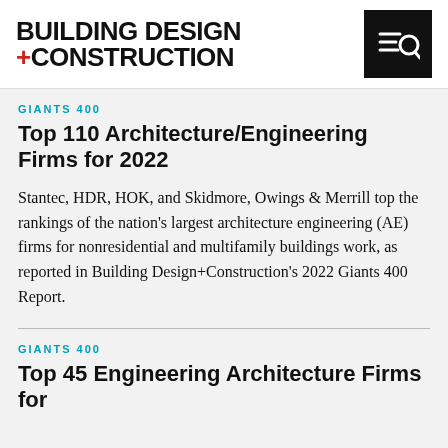BUILDING DESIGN +CONSTRUCTION
GIANTS 400
Top 110 Architecture/Engineering Firms for 2022
Stantec, HDR, HOK, and Skidmore, Owings & Merrill top the rankings of the nation's largest architecture engineering (AE) firms for nonresidential and multifamily buildings work, as reported in Building Design+Construction's 2022 Giants 400 Report.
GIANTS 400
Top 45 Engineering Architecture Firms for